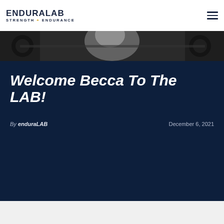ENDURALAB STRENGTH + ENDURANCE
[Figure (photo): Black and white photograph of a person in a gym, partially cropped, showing upper body with gym equipment in background]
Welcome Becca To The LAB!
By enduraLAB    December 6, 2021